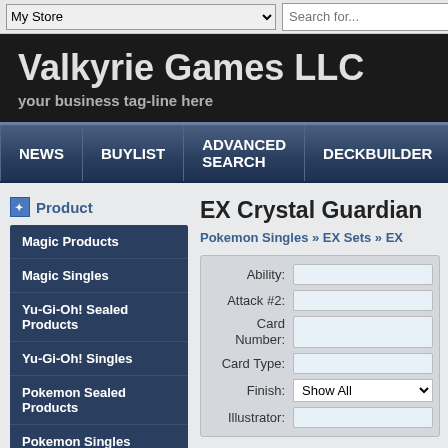My Store [dropdown] | Search for...
Valkyrie Games LLC
your business tag-line here
NEWS | BUYLIST | ADVANCED SEARCH | DECKBUILDER | BU
Product
Magic Products
Magic Singles
Yu-Gi-Oh! Sealed Products
Yu-Gi-Oh! Singles
Pokemon Sealed Products
Pokemon Singles
Sun and Moon Sets
EX Crystal Guardian
Pokemon Singles » EX Sets » EX
| Field | Input |
| --- | --- |
| Ability: |  |
| Attack #2: |  |
| Card Number: |  |
| Card Type: |  |
| Finish: | Show All |
| Illustrator: |  |